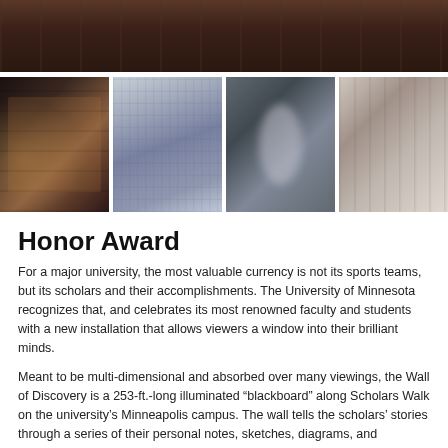[Figure (photo): Top wide banner photo of an outdoor walkway with dark brick/stone flooring and architectural wall structures]
[Figure (photo): Four-panel photo strip showing the Wall of Discovery installation at the University of Minnesota: night view of illuminated wall panels, close-up of etched glass panels with text/diagrams, a person touching/viewing the wall, and an exterior view of the installation]
Honor Award
For a major university, the most valuable currency is not its sports teams, but its scholars and their accomplishments. The University of Minnesota recognizes that, and celebrates its most renowned faculty and students with a new installation that allows viewers a window into their brilliant minds.
Meant to be multi-dimensional and absorbed over many viewings, the Wall of Discovery is a 253-ft.-long illuminated “blackboard” along Scholars Walk on the university’s Minneapolis campus. The wall tells the scholars’ stories through a series of their personal notes, sketches, diagrams, and drawings on the blackboard surface under edgelit, etched-glass panels.
Viewers can see, among many other entries, Dr. Robert Good’s notes for an article on the first successful bone transplant. James